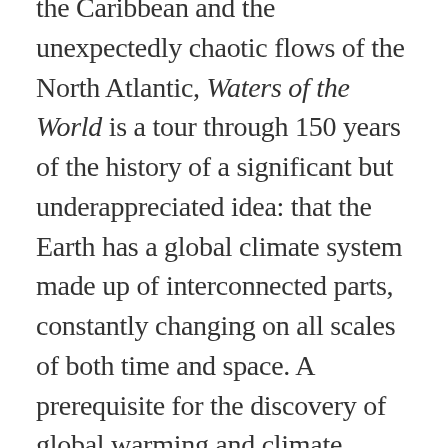the Caribbean and the unexpectedly chaotic flows of the North Atlantic, Waters of the World is a tour through 150 years of the history of a significant but underappreciated idea: that the Earth has a global climate system made up of interconnected parts, constantly changing on all scales of both time and space. A prerequisite for the discovery of global warming and climate change, this idea was forged by scientists studying water in its myriad forms. This is their story.

Linking the history of the planet